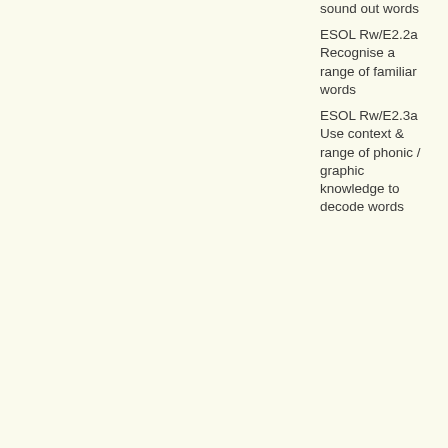sound out words
ESOL Rw/E2.2a Recognise a range of familiar words
ESOL Rw/E2.3a Use context & range of phonic / graphic knowledge to decode words